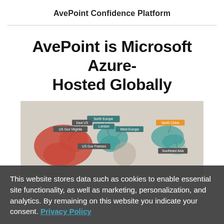AvePoint Confidence Platform
AvePoint is Microsoft Azure-Hosted Globally
[Figure (map): World map showing AvePoint Microsoft Azure hosting locations globally, with labeled regions including North Europe, London, West Europe, East US, US Gov Virginia, US Gov Frances(?), and North China. Regions highlighted in red (Americas) and teal/green (Europe, Asia).]
This website stores data such as cookies to enable essential site functionality, as well as marketing, personalization, and analytics. By remaining on this website you indicate your consent. Privacy Policy